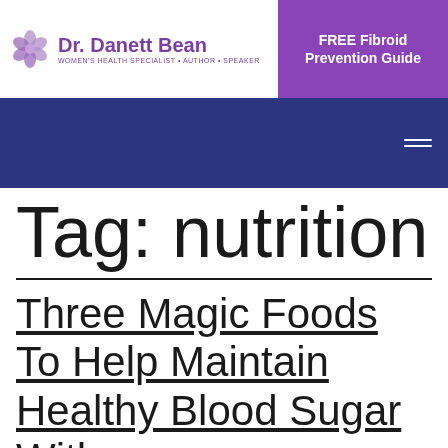Dr. Danett Bean | WOMEN'S HEALTH SPECIALIST • AUTHOR • SPEAKER
FREE Fibroid Prevention Guide
[Figure (other): Dark blue navigation banner with hamburger menu icon]
Tag: nutrition
Three Magic Foods To Help Maintain Healthy Blood Sugar With